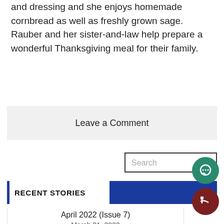and dressing and she enjoys homemade cornbread as well as freshly grown sage. Rauber and her sister-and-law help prepare a wonderful Thanksgiving meal for their family.
Leave a Comment
[Figure (other): Search bar with magnifying glass icon]
RECENT STORIES
April 2022 (Issue 7)
March 31, 2022